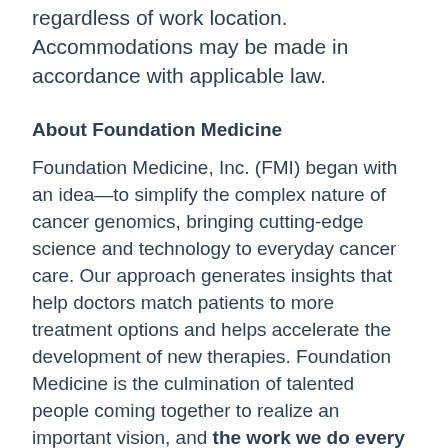regardless of work location. Accommodations may be made in accordance with applicable law.
About Foundation Medicine
Foundation Medicine, Inc. (FMI) began with an idea—to simplify the complex nature of cancer genomics, bringing cutting-edge science and technology to everyday cancer care. Our approach generates insights that help doctors match patients to more treatment options and helps accelerate the development of new therapies. Foundation Medicine is the culmination of talented people coming together to realize an important vision, and the work we do every day impacts real lives.
Confidence, or the belief that we need to check